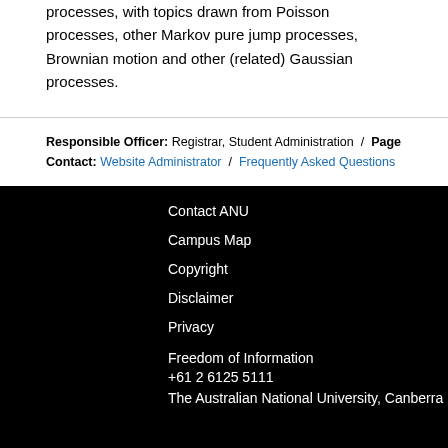critically analyse continuous-time stochastic processes, with topics drawn from Poisson processes, other Markov pure jump processes, Brownian motion and other (related) Gaussian processes.
Responsible Officer: Registrar, Student Administration / Page Contact: Website Administrator / Frequently Asked Questions
Contact ANU | Campus Map | Copyright | Disclaimer | Privacy | Freedom of Information | +61 2 6125 5111 | The Australian National University, Canberra